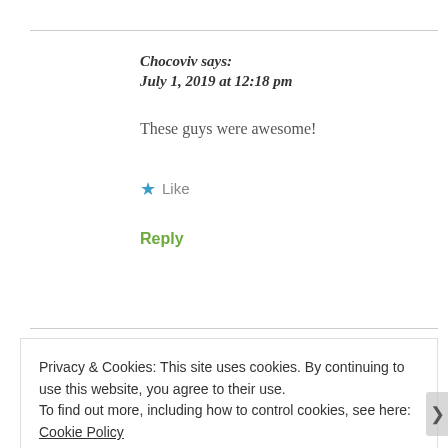Chocoviv says:
July 1, 2019 at 12:18 pm
These guys were awesome!
★ Like
Reply
Privacy & Cookies: This site uses cookies. By continuing to use this website, you agree to their use.
To find out more, including how to control cookies, see here: Cookie Policy
Close and accept